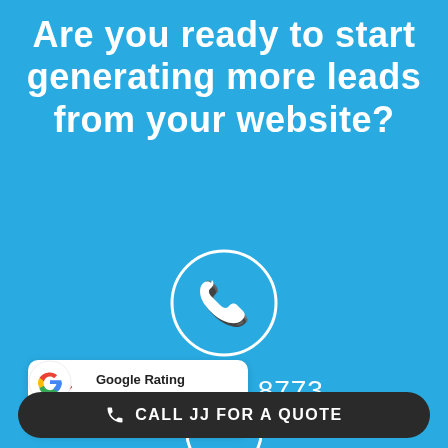Are you ready to start generating more leads from your website?
[Figure (illustration): White phone handset icon inside a white circle outline on a blue background]
020 3871 8773
[Figure (infographic): Google Rating badge showing 5.0 stars based on 39 reviews, with the Google G logo]
[Figure (illustration): Partially visible white icon inside a white circle at the bottom of the blue section]
CALL JJ FOR A QUOTE